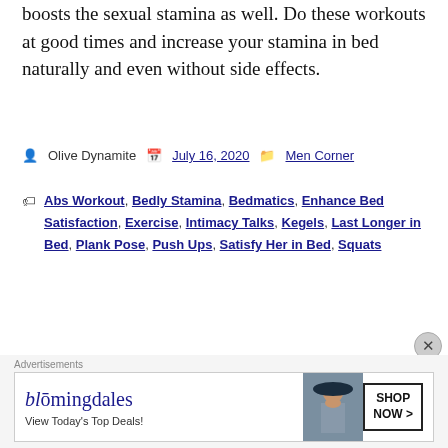boosts the sexual stamina as well. Do these workouts at good times and increase your stamina in bed naturally and even without side effects.
Olive Dynamite · July 16, 2020 · Men Corner
Tags: Abs Workout, Bedly Stamina, Bedmatics, Enhance Bed Satisfaction, Exercise, Intimacy Talks, Kegels, Last Longer in Bed, Plank Pose, Push Ups, Satisfy Her in Bed, Squats
[Figure (other): Bloomingdales advertisement banner with woman in hat, text 'View Today's Top Deals!' and 'SHOP NOW >' button]